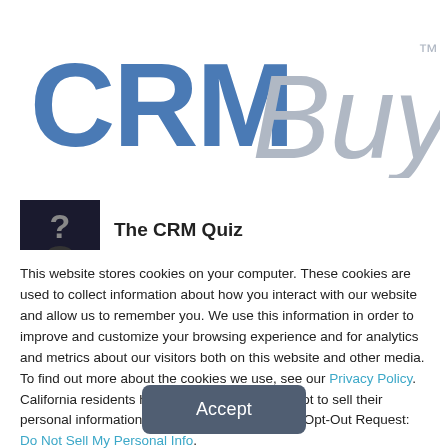[Figure (logo): CRMBuyer logo with 'CRM' in bold blue and 'Buyer' in light gray italic, with TM superscript]
[Figure (photo): Small thumbnail image showing a dark question mark silhouette]
The CRM Quiz
[Figure (photo): Small thumbnail image partially visible, second article preview]
This website stores cookies on your computer. These cookies are used to collect information about how you interact with our website and allow us to remember you. We use this information in order to improve and customize your browsing experience and for analytics and metrics about our visitors both on this website and other media. To find out more about the cookies we use, see our Privacy Policy. California residents have the right to direct us not to sell their personal information to third parties by filing an Opt-Out Request: Do Not Sell My Personal Info.
Accept